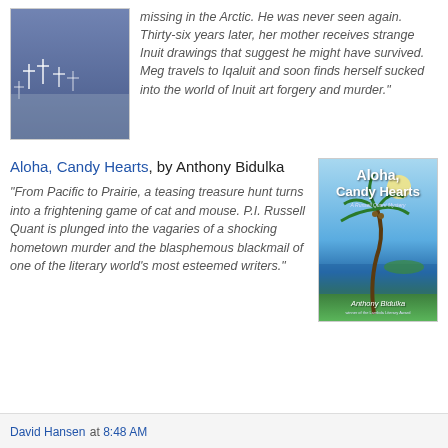[Figure (illustration): Book cover for a Meg Harris Mystery by R.J. Harlick, dark blue-toned cover with white crosses and snowy scene]
missing in the Arctic. He was never seen again. Thirty-six years later, her mother receives strange Inuit drawings that suggest he might have survived. Meg travels to Iqaluit and soon finds herself sucked into the world of Inuit art forgery and murder."
Aloha, Candy Hearts, by Anthony Bidulka
"From Pacific to Prairie, a teasing treasure hunt turns into a frightening game of cat and mouse. P.I. Russell Quant is plunged into the vagaries of a shocking hometown murder and the blasphemous blackmail of one of the literary world's most esteemed writers."
[Figure (illustration): Book cover for Aloha, Candy Hearts by Anthony Bidulka, A Russell Quant Mystery, showing a tropical beach scene with palm tree, blue sky and water]
David Hansen at 8:48 AM